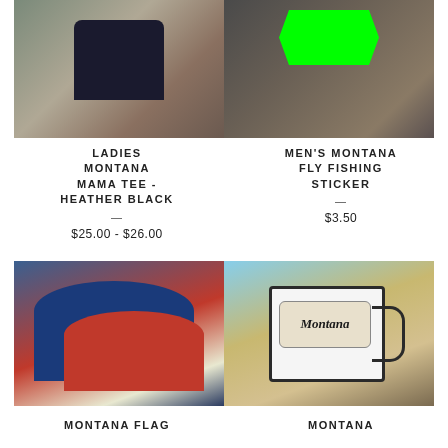[Figure (photo): Ladies Montana Mama Tee in Heather Black, t-shirt on rocky/wood background]
LADIES MONTANA MAMA TEE - HEATHER BLACK
$25.00 - $26.00
[Figure (photo): Men's Montana Fly Fishing Sticker, green fish-shaped sticker on wood background]
MEN'S MONTANA FLY FISHING STICKER
$3.50
[Figure (photo): Montana Flag trucker hats in red/white and blue/white with Montana flag patch]
MONTANA FLAG
[Figure (photo): Montana enamel camping mug, white with black rim and Montana script label]
MONTANA